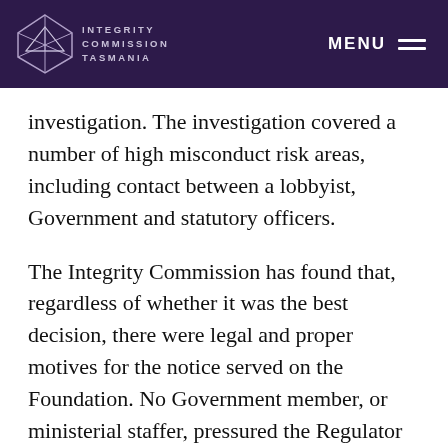Integrity Commission Tasmania — MENU
investigation. The investigation covered a number of high misconduct risk areas, including contact between a lobbyist, Government and statutory officers.
The Integrity Commission has found that, regardless of whether it was the best decision, there were legal and proper motives for the notice served on the Foundation. No Government member, or ministerial staffer, pressured the Regulator to serve the notice. However, by the time the notice was served, the Regulator had been the subject of sustained lobbying by a private citizen for nearly two years.